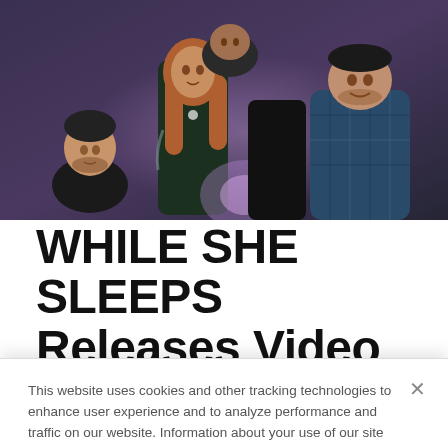[Figure (photo): Band photo of While She Sleeps — five members posing together against a purple/dark background, wearing casual and rock-style clothing.]
WHILE SHE SLEEPS Releases Video For New Single 'You Are All You Need'
This website uses cookies and other tracking technologies to enhance user experience and to analyze performance and traffic on our website. Information about your use of our site may also be shared with social media, advertising, retail and analytics providers and partners. Privacy Policy
Do Not Sell My Personal Information | Accept Cookies